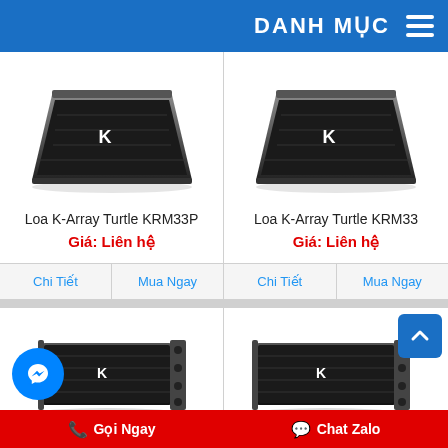DANH MỤC
[Figure (photo): Black K-Array Turtle KRM33P stage monitor speaker angled view]
Loa K-Array Turtle KRM33P
Giá: Liên hệ
[Figure (photo): Black K-Array Turtle KRM33 stage monitor speaker angled view]
Loa K-Array Turtle KRM33
Giá: Liên hệ
[Figure (photo): Black K-Array line array speaker horizontal rectangular shape]
[Figure (photo): Black K-Array line array speaker horizontal rectangular shape]